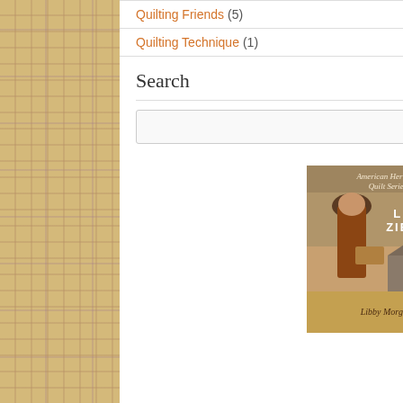Quilting Friends (5)
Quilting Technique (1)
Search
[Figure (screenshot): Search input box with a grey button on the right]
[Figure (photo): Book cover: American Heritage Quilt Series by Leah Zieber, titled Libby Morgan. Features a woman in pioneer dress holding a basket and umbrella, with a farmhouse in the background.]
Translate »